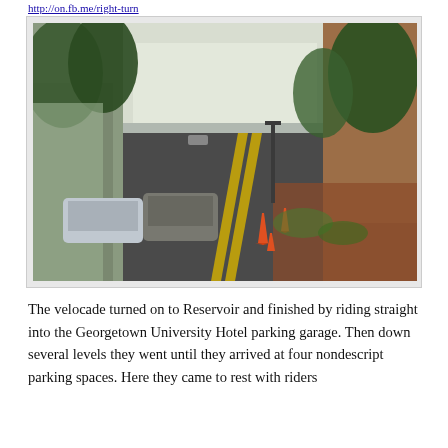http://on.fb.me/right-turn
[Figure (photo): Street scene showing a road with cars, orange traffic cones in the center lane, tree-lined sidewalks, and brick buildings on the right side. The photo is taken from a road-level perspective looking down the street.]
The velocade turned on to Reservoir and finished by riding straight into the Georgetown University Hotel parking garage.  Then down several levels they went until they arrived at four nondescript parking spaces.  Here they came to rest with riders